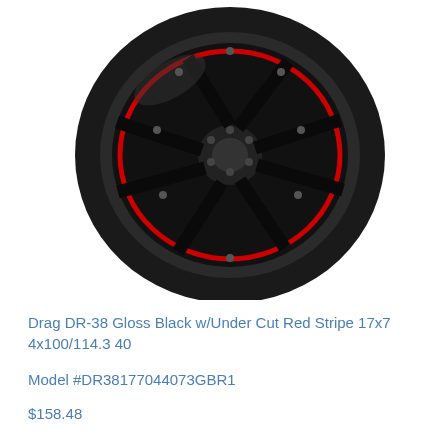[Figure (photo): A glossy black automotive wheel with red stripe undercut detail and multi-spoke design, shown at a slight angle against a white background.]
Drag DR-38 Gloss Black w/Under Cut Red Stripe 17x7 4x100/114.3 40
Model #DR38177044073GBR1
$158.48